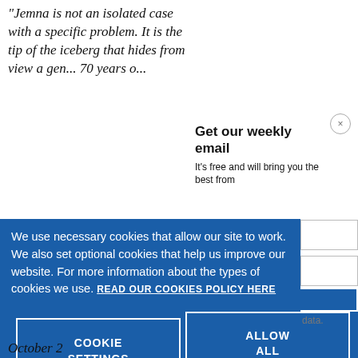"Jemna is not an isolated case with a specific problem. It is the tip of the iceberg that hides from view a gen... 70 years o...
Get our weekly email
It's free and will bring you the best from
We use necessary cookies that allow our site to work. We also set optional cookies that help us improve our website. For more information about the types of cookies we use. READ OUR COOKIES POLICY HERE
COOKIE SETTINGS
ALLOW ALL COOKIES
data.
October 2